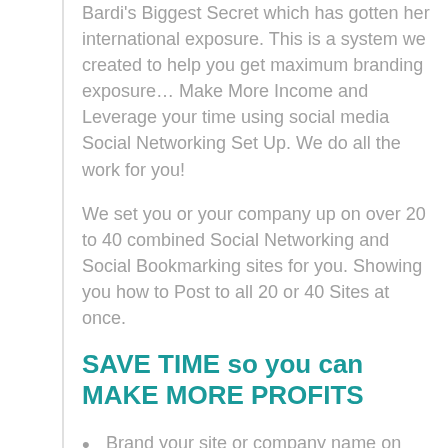Bardi's Biggest Secret which has gotten her international exposure. This is a system we created to help you get maximum branding exposure… Make More Income and Leverage your time using social media Social Networking Set Up. We do all the work for you!
We set you or your company up on over 20 to 40 combined Social Networking and Social Bookmarking sites for you. Showing you how to Post to all 20 or 40 Sites at once.
SAVE TIME so you can MAKE MORE PROFITS
Brand your site or company name on each post you submit to Facebook, Twitter, LinkedIn and top 30-45 Sites
Manage multiple campaigns, clients and teams on all your networks with Our Enterprise System.